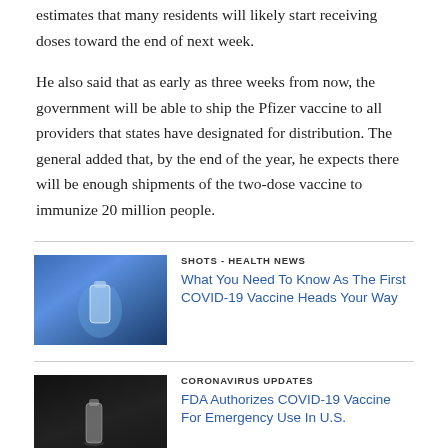estimates that many residents will likely start receiving doses toward the end of next week.
He also said that as early as three weeks from now, the government will be able to ship the Pfizer vaccine to all providers that states have designated for distribution. The general added that, by the end of the year, he expects there will be enough shipments of the two-dose vaccine to immunize 20 million people.
[Figure (photo): Blue gloved hand holding a vaccine vial]
SHOTS - HEALTH NEWS
What You Need To Know As The First COVID-19 Vaccine Heads Your Way
[Figure (photo): Dark background with a vaccine vial]
CORONAVIRUS UPDATES
FDA Authorizes COVID-19 Vaccine For Emergency Use In U.S.